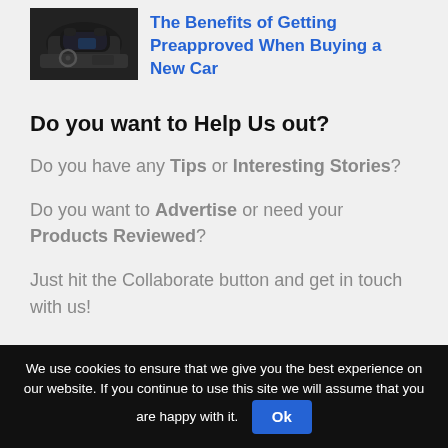[Figure (photo): Car interior photo showing dashboard and steering wheel in dark tones]
The Benefits of Getting Preapproved When Buying a New Car
Do you want to Help Us out?
Do you have any Tips or Interesting Stories?
Do you want to Advertise or need your Products Reviewed?
Just hit the Collaborate button and get in touch with us!
We use cookies to ensure that we give you the best experience on our website. If you continue to use this site we will assume that you are happy with it.